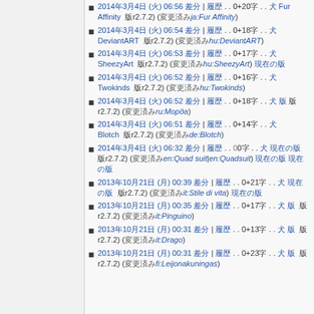2014年3月4日 (火) 06:56 差分 | 履歴 . . 0+20字 . . 犬 Fur Affinity 版r2.7.2) (変更済みja:Fur Affinity)
2014年3月4日 (火) 06:54 差分 | 履歴 . . 0+18字 . . 犬 DeviantART 版r2.7.2) (変更済みhu:DeviantART)
2014年3月4日 (火) 06:53 差分 | 履歴 . . 0+17字 . . 犬 SheezyArt 版r2.7.2) (変更済みhu:SheezyArt) 現在の版
2014年3月4日 (火) 06:52 差分 | 履歴 . . 0+16字 . . 犬 Twokinds 版r2.7.2) (変更済みhu:Twokinds)
2014年3月4日 (火) 06:52 差分 | 履歴 . . 0+18字 . . 犬 版 版r2.7.2) (変更済みru:Морда)
2014年3月4日 (火) 06:51 差分 | 履歴 . . 0+14字 . . 犬 Blotch 版r2.7.2) (変更済みde:Blotch)
2014年3月4日 (火) 06:32 差分 | 履歴 . . 00字 . . 犬 現在の版 版r2.7.2) (変更済みen:Quad suit|en:Quadsuit) 現在の版
2013年10月21日 (月) 00:39 差分 | 履歴 . . 0+21字 . . 犬 現在の版 版r2.7.2) (変更済みit:Stile di vita) 現在の版
2013年10月21日 (月) 00:35 差分 | 履歴 . . 0+17字 . . 犬 版 版r2.7.2) (変更済みit:Pinguino)
2013年10月21日 (月) 00:31 差分 | 履歴 . . 0+13字 . . 犬 版 版r2.7.2) (変更済みit:Drago)
2013年10月21日 (月) 00:31 差分 | 履歴 . . 0+23字 . . 犬 版 版r2.7.2) (変更済みfi:Leijonakuningas)